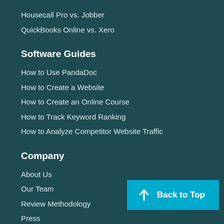Housecall Pro vs. Jobber
QuickBooks Online vs. Xero
Software Guides
How to Use PandaDoc
How to Create a Website
How to Create an Online Course
How to Track Keyword Ranking
How to Analyze Competitor Website Traffic
Company
About Us
Our Team
Review Methodology
Press
Back to Top